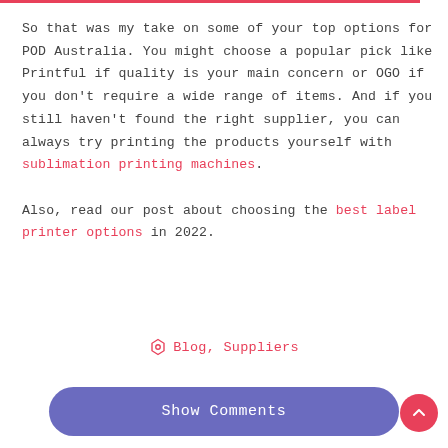So that was my take on some of your top options for POD Australia. You might choose a popular pick like Printful if quality is your main concern or OGO if you don't require a wide range of items. And if you still haven't found the right supplier, you can always try printing the products yourself with sublimation printing machines.
Also, read our post about choosing the best label printer options in 2022.
Blog, Suppliers
Show Comments